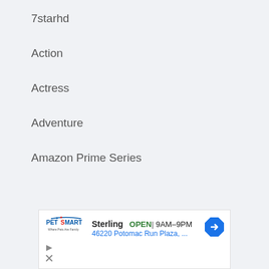7starhd
Action
Actress
Adventure
Amazon Prime Series
[Figure (advertisement): PetSmart advertisement showing Sterling location, OPEN 9AM-9PM, 46220 Potomac Run Plaza with navigation arrow icon]